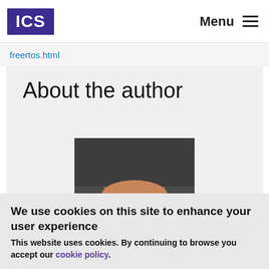ICS   Menu
freertos.html
About the author
[Figure (photo): Partial author photo showing dark background and a hand or shoulder]
We use cookies on this site to enhance your user experience
This website uses cookies. By continuing to browse you accept our cookie policy.
OK, I agree